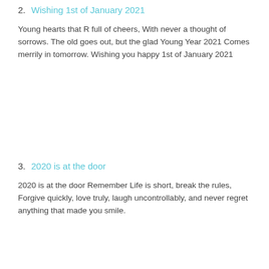2. Wishing 1st of January 2021
Young hearts that R full of cheers, With never a thought of sorrows. The old goes out, but the glad Young Year 2021 Comes merrily in tomorrow. Wishing you happy 1st of January 2021
3. 2020 is at the door
2020 is at the door Remember Life is short, break the rules, Forgive quickly, love truly, laugh uncontrollably, and never regret anything that made you smile.